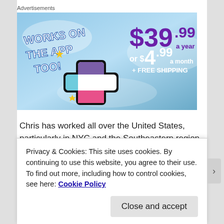Advertisements
[Figure (illustration): Advertisement banner with blue sky background. Left side: 'WORKS ON THE APP TOO!' in bold white rotated text with yellow sparkles and a colorful plus icon (purple, white, pink). Right side: '$39.99 a year or $4.99 a month + FREE SHIPPING' in purple and white text.]
Chris has worked all over the United States, particularly in NYC and the Southeastern region. He has also performed
Privacy & Cookies: This site uses cookies. By continuing to use this website, you agree to their use.
To find out more, including how to control cookies, see here: Cookie Policy
Close and accept